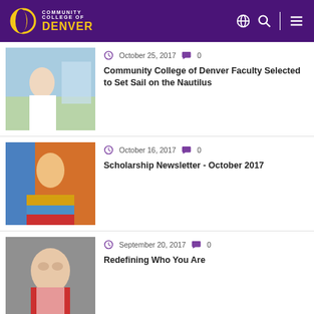Community College of Denver
[Figure (photo): Woman standing near an aquarium in a lab setting]
October 25, 2017  0
Community College of Denver Faculty Selected to Set Sail on the Nautilus
[Figure (photo): Person holding a Colombian flag in front of colorful mural]
October 16, 2017  0
Scholarship Newsletter - October 2017
[Figure (photo): Smiling woman with short hair wearing a red jacket]
September 20, 2017  0
Redefining Who You Are
[Figure (photo): Blonde woman partial view]
September 19, 2017  0
The Power of Personalization